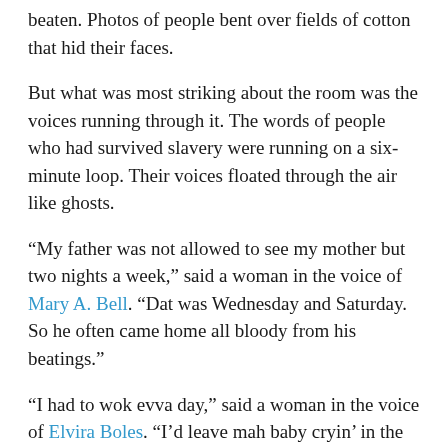beaten. Photos of people bent over fields of cotton that hid their faces.
But what was most striking about the room was the voices running through it. The words of people who had survived slavery were running on a six-minute loop. Their voices floated through the air like ghosts.
“My father was not allowed to see my mother but two nights a week,” said a woman in the voice of Mary A. Bell. “Dat was Wednesday and Saturday. So he often came home all bloody from his beatings.”
“I had to wok evva day,” said a woman in the voice of Elvira Boles. “I’d leave mah baby cryin’ in the yard, and I’d be cryin’, but I couldn’t stay.”
“My mudder word in de field,” said Harrison Beckett.